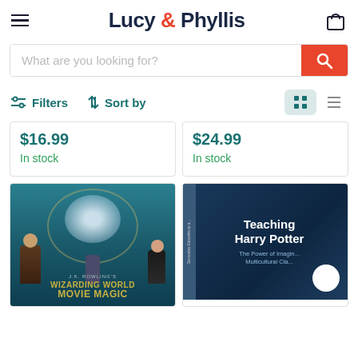Lucy & Phyllis — navigation header with hamburger menu, logo, and cart icon
What are you looking for?
Filters  Sort by
$16.99
In stock
$24.99
In stock
[Figure (photo): Book cover: J.K. Rowling's Wizarding World Movie Magic, showing characters and Hogwarts castle on teal background]
[Figure (photo): Book cover: Teaching Harry Potter – The Power of Imagination in Multicultural Classrooms, dark blue cover with white title text]